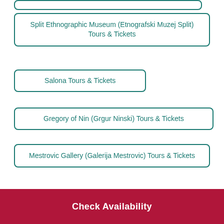(partial item at top)
Split Ethnographic Museum (Etnografski Muzej Split) Tours & Tickets
Salona Tours & Tickets
Gregory of Nin (Grgur Ninski) Tours & Tickets
Mestrovic Gallery (Galerija Mestrovic) Tours & Tickets
Klis Fortress (Tvrdava Klis) Tours & Tickets
Riva Promenade (Riva Split Waterfront) Tours & Tickets
Check Availability